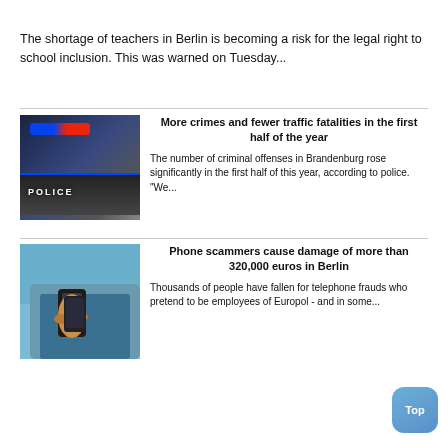The shortage of teachers in Berlin is becoming a risk for the legal right to school inclusion. This was warned on Tuesday...
[Figure (photo): Police car with blue lights in the dark]
More crimes and fewer traffic fatalities in the first half of the year
The number of criminal offenses in Brandenburg rose significantly in the first half of this year, according to police. "We...
[Figure (photo): Person holding a smartphone]
Phone scammers cause damage of more than 320,000 euros in Berlin
Thousands of people have fallen for telephone frauds who pretend to be employees of Europol - and in some...